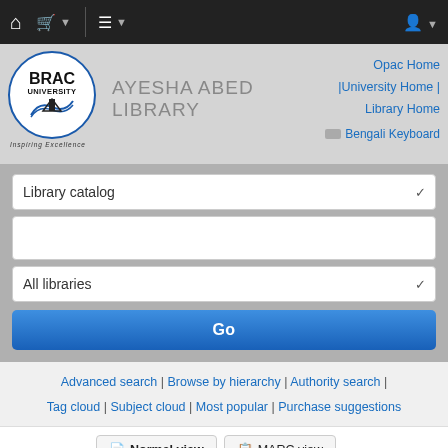Navigation bar with home, cart, menu, and user icons
[Figure (logo): BRAC University circular logo with book/waves graphic and Inspiring Excellence tagline]
AYESHA ABED LIBRARY
Opac Home |University Home | Library Home
Bengali Keyboard
Library catalog (dropdown)
All libraries (dropdown)
Go (button)
Advanced search | Browse by hierarchy | Authority search | Tag cloud | Subject cloud | Most popular | Purchase suggestions
Normal view  MARC view  ISBD view